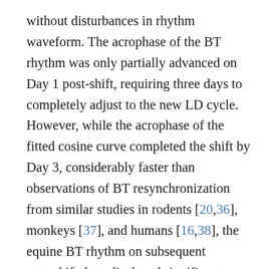without disturbances in rhythm waveform. The acrophase of the BT rhythm was only partially advanced on Day 1 post-shift, requiring three days to completely adjust to the new LD cycle. However, while the acrophase of the fitted cosine curve completed the shift by Day 3, considerably faster than observations of BT resynchronization from similar studies in rodents [20,36], monkeys [37], and humans [16,38], the equine BT rhythm on subsequent post-shift days displayed significant waveform disturbances. The apparent decline in the robustness of the BT rhythm on post-shift days 7, 9 and 11 could suggest acute behavioural masking by the advanced LD cycle, but we know of no data to support this view. Alternatively, transient distortion of the BT rhythm post shift may